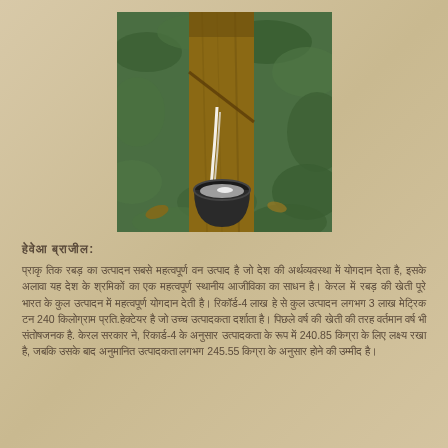[Figure (photo): A rubber tree tapping photo showing white latex dripping from a cut in the bark into a black collection cup, with green foliage in the background.]
हेवेआ ब्राजील:
प्राकृ तिक रबड़ का उत्पादन सबसे महत्वपूर्ण वन उत्पाद है जो देश की अर्थव्यवस्था में योगदान देता है, इसके अलावा यह देश के श्रमिकों का एक महत्वपूर्ण स्थानीय आजीविका का साधन है। केरल में रबड़ की खेती पूरे भारत के कुल उत्पादन में महत्वपूर्ण योगदान देती है। रिकॉर्ड-4 लाख हे से कुल उत्पादन लगभग 3 लाख मेट्रिक टन 240 किलोग्राम प्रति हेक्टेयर है जो उच्च उत्पादकता दर्शाता है। पिछले वर्ष की खेती की तरह वर्तमान वर्ष भी संतोषजनक है. केरल सरकार ने, रिकार्ड-4 के अनुसार उत्पादकता के रूप में 240.85 किग्रा के लिए लक्ष्य रखा है, जबकि उसके बाद अनुमानित उत्पादकता लगभग 245.55 किग्रा के अनुसार होने की उम्मीद है।